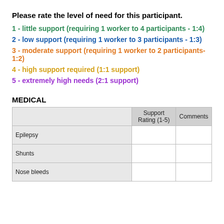Please rate the level of need for this participant.
1 - little support (requiring 1 worker to 4 participants - 1:4)
2 - low support (requiring 1 worker to 3 participants - 1:3)
3 - moderate support (requiring 1 worker to 2 participants- 1:2)
4 - high support required (1:1 support)
5 - extremely high needs (2:1 support)
MEDICAL
|  | Support Rating (1-5) | Comments |
| --- | --- | --- |
| Epilepsy |  |  |
| Shunts |  |  |
| Nose bleeds |  |  |